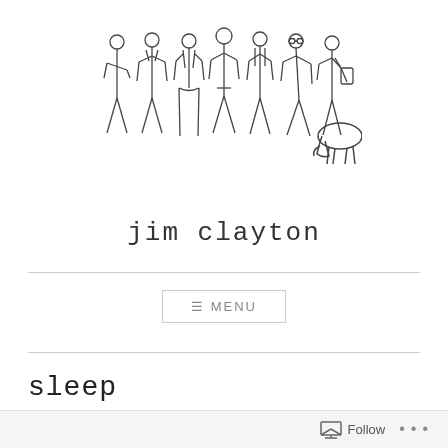[Figure (illustration): Line drawing of seven people standing in a row (men and women in various poses) and a dog sniffing the ground to the right]
jim clayton
≡ MENU
sleep
[blurred byline text]
Follow ...